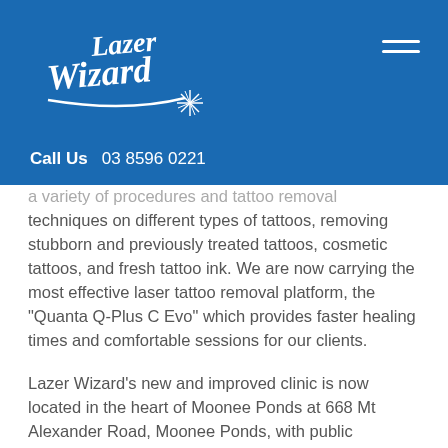[Figure (logo): Lazer Wizard logo in white cursive text with a star/laser burst graphic on a blue background]
Call Us  03 8596 0221
...a variety of procedures and tattoo removal techniques on different types of tattoos, removing stubborn and previously treated tattoos, cosmetic tattoos, and fresh tattoo ink. We are now carrying the most effective laser tattoo removal platform, the "Quanta Q-Plus C Evo" which provides faster healing times and comfortable sessions for our clients.
Lazer Wizard's new and improved clinic is now located in the heart of Moonee Ponds at 668 Mt Alexander Road, Moonee Ponds, with public transport at our front door.